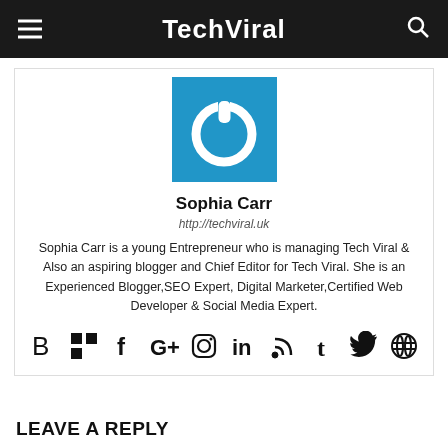TechViral
[Figure (logo): TechViral power button logo on blue background]
Sophia Carr
http://techviral.uk
Sophia Carr is a young Entrepreneur who is managing Tech Viral & Also an aspiring blogger and Chief Editor for Tech Viral. She is an Experienced Blogger,SEO Expert, Digital Marketer,Certified Web Developer & Social Media Expert.
[Figure (infographic): Row of social media icons: Blogger, del.icio.us, Facebook, Google+, Instagram, LinkedIn, RSS, Tumblr, Twitter, WordPress]
LEAVE A REPLY